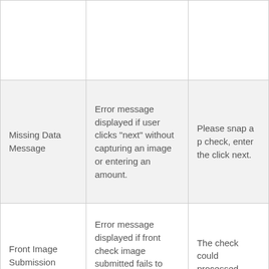|  |  |  |
| Missing Data Message | Error message displayed if user clicks "next" without capturing an image or entering an amount. | Please snap a p check, enter the click next. |
| Front Image Submission Error Message | Error message displayed if front check image submitted fails to process correctly. | The check could processed, plea: |